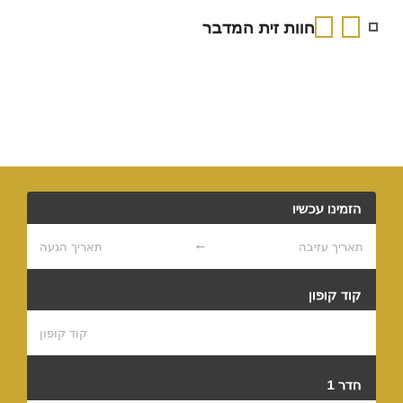חוות זית המדבר
הזמינו עכשיו
תאריך הגעה ← תאריך עזיבה
קוד קופון
קוד קופון
חדר 1
2 אורחים